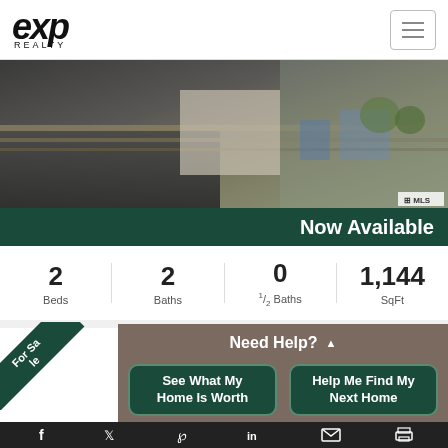[Figure (logo): eXp Realty logo in top left corner]
[Figure (photo): Interior/exterior property photo showing a balcony or walkway with railing and street view]
Now Available
2 Beds   2 Baths   0 ½ Baths   1,144 SqFt
Need Help?
For Sale
See What My Home Is Worth
Help Me Find My Next Home